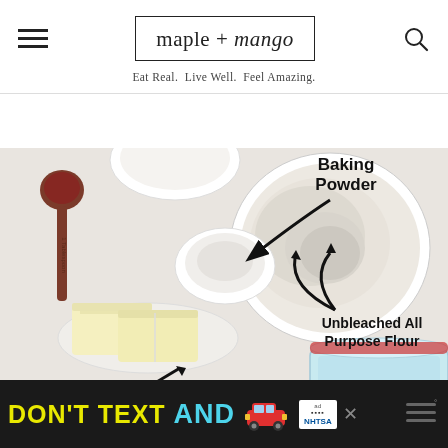[Figure (logo): maple + mango website logo with tagline 'Eat Real. Live Well. Feel Amazing.']
[Figure (photo): Overhead photo of baking ingredients on white surface: measuring spoon, bowls of flour and baking powder, butter sticks on plate, glass jar. Annotations label 'Baking Powder' with arrow and 'Unbleached All Purpose Flour' with arrow.]
[Figure (infographic): Advertisement banner: black background with yellow 'DON'T TEXT' and cyan 'AND' text, red car emoji, NHTSA ad badge, close button, weather icon.]